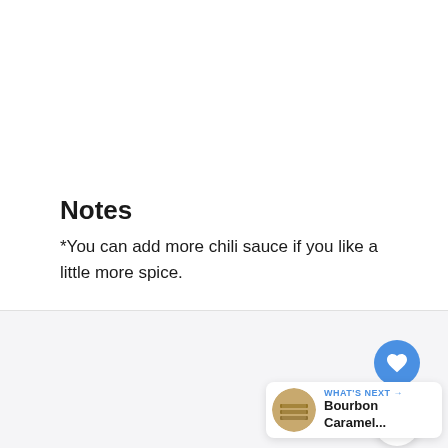Notes
*You can add more chili sauce if you like a little more spice.
[Figure (other): Heart/favorite button (blue circle with white heart icon)]
[Figure (other): Share button (white circle with share icon)]
[Figure (other): What's Next card showing Bourbon Caramel... with food thumbnail image]